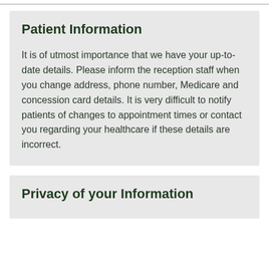Patient Information
It is of utmost importance that we have your up-to-date details. Please inform the reception staff when you change address, phone number, Medicare and concession card details. It is very difficult to notify patients of changes to appointment times or contact you regarding your healthcare if these details are incorrect.
Privacy of your Information